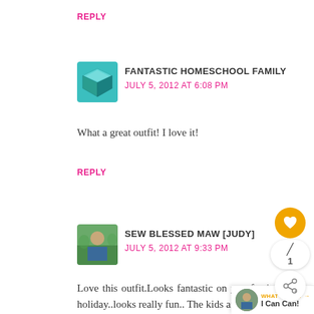REPLY
[Figure (illustration): Teal/turquoise cube avatar icon for Fantastic Homeschool Family commenter]
FANTASTIC HOMESCHOOL FAMILY
JULY 5, 2012 AT 6:08 PM
What a great outfit! I love it!
REPLY
[Figure (photo): Photo avatar of person outdoors for Sew Blessed Maw [Judy] commenter]
SEW BLESSED MAW [JUDY]
JULY 5, 2012 AT 9:33 PM
Love this outfit.Looks fantastic on you for july 4th holiday..looks really fun.. The kids are adorable.